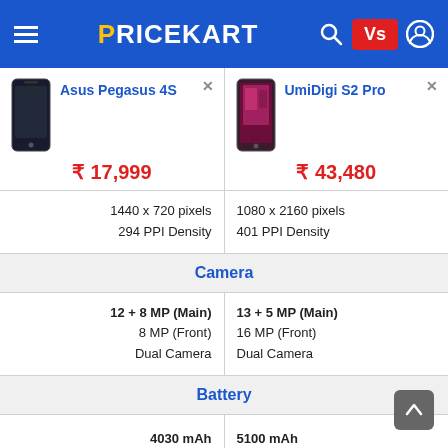PRICEKART
| Asus Pegasus 4S | UmiDigi S2 Pro |
| --- | --- |
| ₹17,999 | ₹43,480 |
| 1440 x 720 pixels
294 PPI Density | 1080 x 2160 pixels
401 PPI Density |
| Camera | Camera |
| 12 + 8 MP (Main)
8 MP (Front)
Dual Camera | 13 + 5 MP (Main)
16 MP (Front)
Dual Camera |
| Battery | Battery |
| 4030 mAh | 5100 mAh |